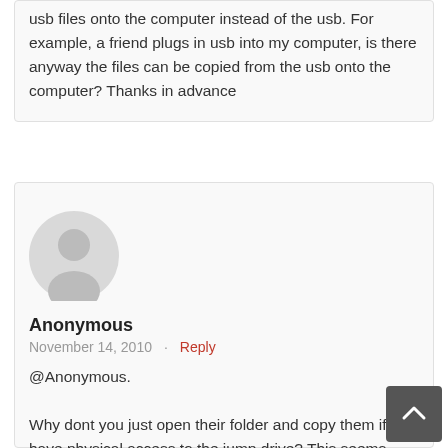usb files onto the computer instead of the usb. For example, a friend plugs in usb into my computer, is there anyway the files can be copied from the usb onto the computer? Thanks in advance
[Figure (illustration): Grey circular avatar/user profile icon placeholder]
Anonymous
November 14, 2010 · Reply
@Anonymous.

Why dont you just open their folder and copy them if you have physical access to the jump drive? This seems logical.